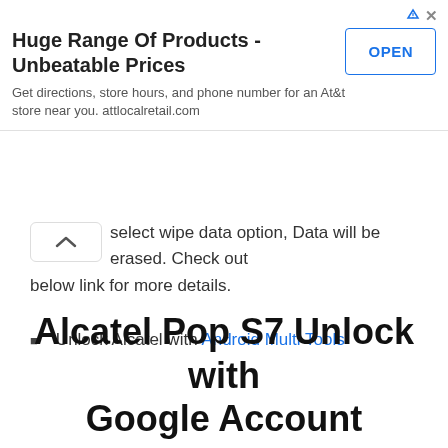[Figure (other): Advertisement banner for AT&T store with title 'Huge Range Of Products - Unbeatable Prices', description 'Get directions, store hours, and phone number for an At&t store near you. attlocalretail.com', and an OPEN button.]
select wipe data option, Data will be erased. Check out below link for more details.
Unlock Alcatel with Android Multi Tools
Alcatel Pop S7 Unlock with Google Account